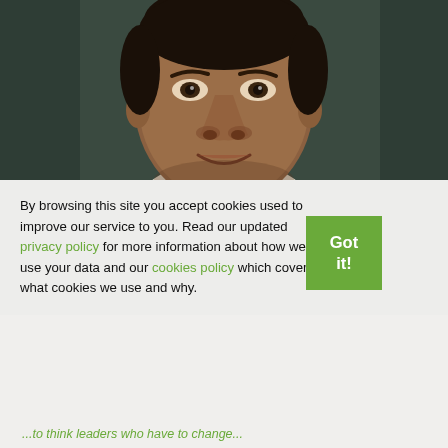[Figure (photo): Close-up portrait of a middle-aged man of African descent in business attire, against a dark background]
By browsing this site you accept cookies used to improve our service to you. Read our updated privacy policy for more information about how we use your data and our cookies policy which covers what cookies we use and why.
Got it!
...to think leaders who have to change...